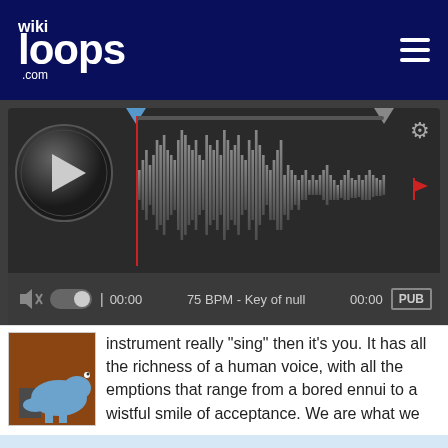[Figure (screenshot): wikiloops.com header with logo on left and hamburger menu icon on right, dark navy blue background]
[Figure (screenshot): Audio player interface with play button, waveform display, volume controls, time 00:00, 75 BPM, Key of null, and PUB label]
instrument really "sing" then it's you. It has all the richness of a human voice, with all the emptions that range from a bored ennui to a wistful smile of acceptance. We are what we are, let's have a drink, raise a wry smile and
wikiloops.com utilise des Cookies pour vous apporter la meilleure expérience de navigation. En apprendre plus sur notre charte des données privées .